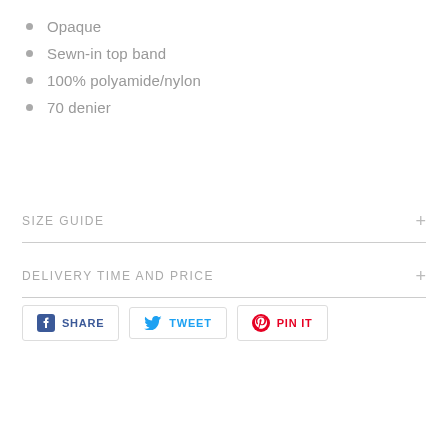Opaque
Sewn-in top band
100% polyamide/nylon
70 denier
SIZE GUIDE
DELIVERY TIME AND PRICE
SHARE  TWEET  PIN IT